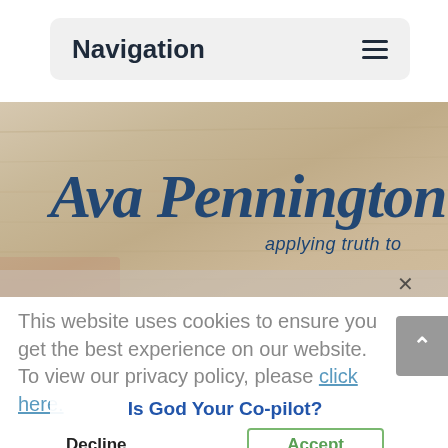Navigation
[Figure (screenshot): Ava Pennington website hero banner with script logo text 'Ava Pennington' and tagline 'applying truth to deepen faith' over a wood-texture background with notebook and pen]
This website uses cookies to ensure you get the best experience on our website. To view our privacy policy, please click here.
Is God Your Co-pilot?
Decline   Accept